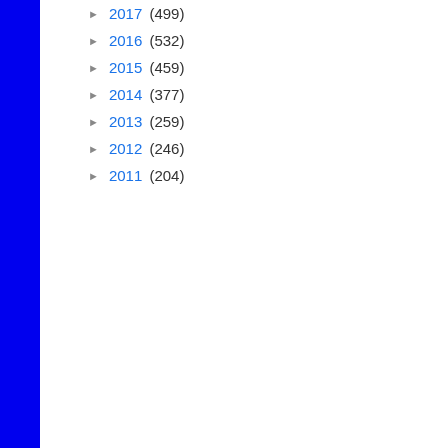► 2017 (499)
► 2016 (532)
► 2015 (459)
► 2014 (377)
► 2013 (259)
► 2012 (246)
► 2011 (204)